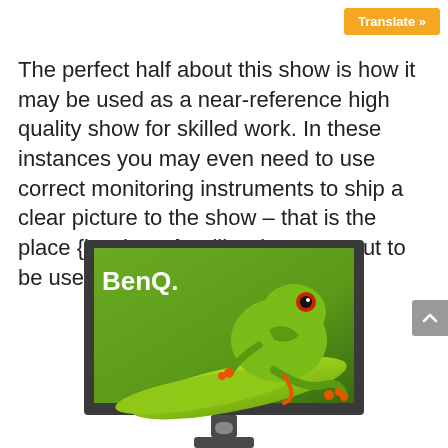Translate »
The perfect half about this show is how it may be used as a near-reference high quality show for skilled work. In these instances you may even need to use correct monitoring instruments to ship a clear picture to the show – that is the place {hardware} calibration turns out to be useful.
[Figure (photo): BenQ monitor displaying a green frog image on its screen, with the monitor stand visible below.]